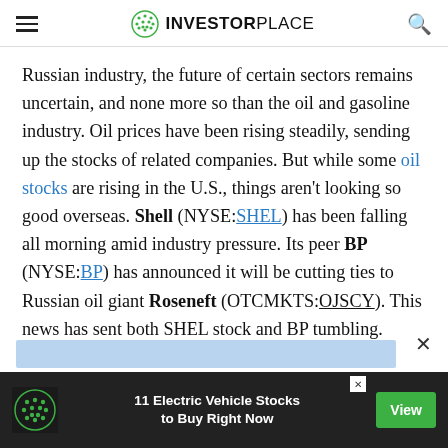INVESTORPLACE
Russian industry, the future of certain sectors remains uncertain, and none more so than the oil and gasoline industry. Oil prices have been rising steadily, sending up the stocks of related companies. But while some oil stocks are rising in the U.S., things aren't looking so good overseas. Shell (NYSE:SHEL) has been falling all morning amid industry pressure. Its peer BP (NYSE:BP) has announced it will be cutting ties to Russian oil giant Roseneft (OTCMKTS:OJSCY). This news has sent both SHEL stock and BP tumbling.
[Figure (other): Blue advertisement bar placeholder at bottom of article]
11 Electric Vehicle Stocks to Buy Right Now